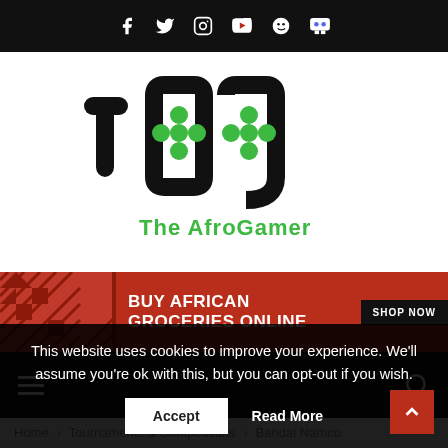Social media icons: Facebook, Twitter, Instagram, YouTube, Spotify, Discord
[Figure (logo): The AfroGamer (TAG) logo — stylized black letters 'tag' with green gamepad/flower icons inside the 'a' and 'g', with green text 'The AfroGamer' below]
[Figure (infographic): Red advertisement banner reading 'BUY AFRICAN GROCERIES ONLINE' with a dark 'SHOP NOW' button and a red chevron/diamond pattern on the left side]
[Figure (screenshot): Black navigation bar with hamburger menu icon on the left and search icon on the right]
Home > Tournaments & Competitions > Bandai Namco
This website uses cookies to improve your experience. We'll assume you're ok with this, but you can opt-out if you wish.
Accept   Read More